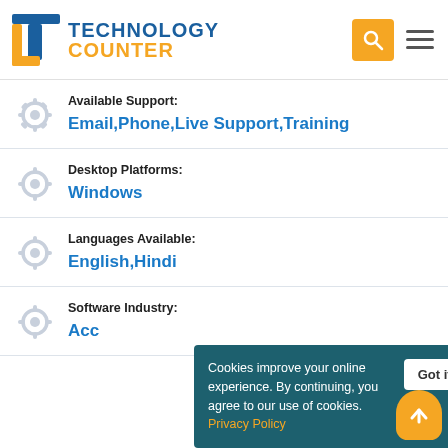Technology Counter
Available Support: Email,Phone,Live Support,Training
Desktop Platforms: Windows
Languages Available: English,Hindi
Software Industry: Accounting
Cookies improve your online experience. By continuing, you agree to our use of cookies. Privacy Policy